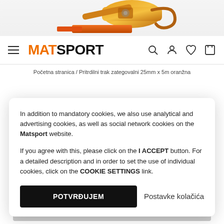[Figure (photo): Ratchet strap buckle in orange/gold color, cropped at top of page]
MATSPORT
Početna stranica / Pritrdilni trak zategovalni 25mm x 5m oranžna
In addition to mandatory cookies, we also use analytical and advertising cookies, as well as social network cookies on the Matsport website.

If you agree with this, please click on the I ACCEPT button. For a detailed description and in order to set the use of individual cookies, click on the COOKIE SETTINGS link.
POTVRĐUJEM
Postavke kolačića
6,80 EUR
DODAJ U KOŠARICU